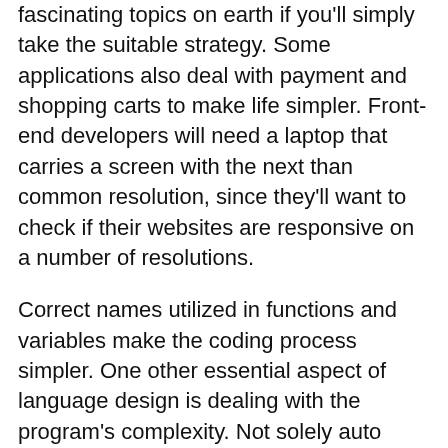fascinating topics on earth if you'll simply take the suitable strategy. Some applications also deal with payment and shopping carts to make life simpler. Front-end developers will need a laptop that carries a screen with the next than common resolution, since they'll want to check if their websites are responsive on a number of resolutions.
Correct names utilized in functions and variables make the coding process simpler. One other essential aspect of language design is dealing with the program's complexity. Not solely auto code completion and syntax highlighting however support are available as effectively for the Python model 2.7 and 3.5.
To make work easier a programmer gets all amenities which might make his work better with the availability of instructions within the type of programs which is known as a macro. Software program programming has turn out to be a a lot better and quicker way of fulfilling the skilled necessities different organizations demand.